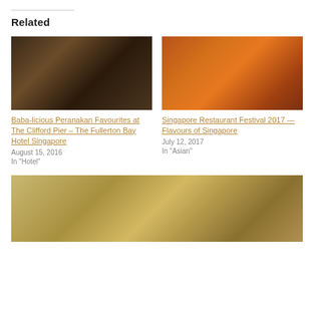Related
[Figure (photo): Close-up of chopsticks holding a meatball over a bowl of dark broth with various ingredients]
Baba-licious Peranakan Favourites at The Clifford Pier – The Fullerton Bay Hotel Singapore
August 15, 2016
In "Hotel"
[Figure (photo): Plate of Singapore chilli crab with orange-red sauce and garnished with herbs]
Singapore Restaurant Festival 2017 — Flavours of Singapore
July 12, 2017
In "Asian"
[Figure (photo): Spread of food with satay skewers, condiments and various dishes on a table]